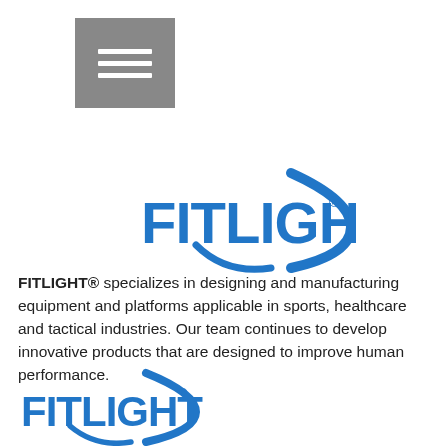[Figure (logo): Hamburger menu icon — three horizontal white lines on a grey square background]
[Figure (logo): FITLIGHT logo in blue — large bold text with a blue swoosh/arc design element, with registered trademark symbol]
FITLIGHT® specializes in designing and manufacturing equipment and platforms applicable in sports, healthcare and tactical industries. Our team continues to develop innovative products that are designed to improve human performance.
[Figure (logo): FITLIGHT logo in blue — smaller version with bold text and blue swoosh/arc design element, with trademark symbol]